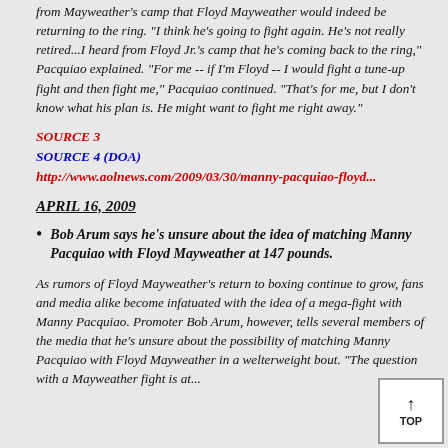from Mayweather's camp that Floyd Mayweather would indeed be returning to the ring. "I think he's going to fight again. He's not really retired...I heard from Floyd Jr.'s camp that he's coming back to the ring," Pacquiao explained. "For me -- if I'm Floyd -- I would fight a tune-up fight and then fight me," Pacquiao continued. "That's for me, but I don't know what his plan is. He might want to fight me right away."
SOURCE 3
SOURCE 4 (DOA)
http://www.aolnews.com/2009/03/30/manny-pacquiao-floyd...
APRIL 16, 2009
Bob Arum says he's unsure about the idea of matching Manny Pacquiao with Floyd Mayweather at 147 pounds.
As rumors of Floyd Mayweather's return to boxing continue to grow, fans and media alike become infatuated with the idea of a mega-fight with Manny Pacquiao. Promoter Bob Arum, however, tells several members of the media that he's unsure about the possibility of matching Manny Pacquiao with Floyd Mayweather in a welterweight bout. "The question with a Mayweather fight is at...